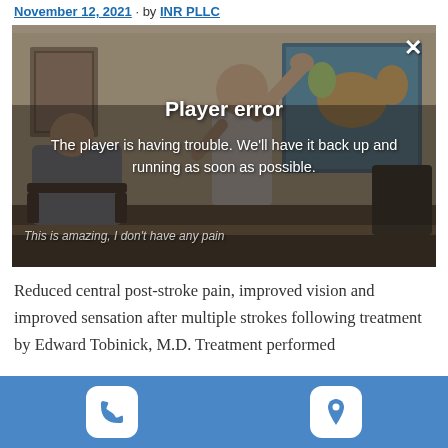November 12, 2021 by INR PLLC
[Figure (screenshot): Video player showing a medical office scene with a standing elderly man raising his hand and a seated patient. An error overlay reads 'Player error – The player is having trouble. We'll have it back up and running as soon as possible.' A subtitle reads 'This is amazing, I don't have any pain'. A close (X) button is in the top right.]
Reduced central post-stroke pain, improved vision and improved sensation after multiple strokes following treatment by Edward Tobinick, M.D. Treatment performed
Phone and location icons